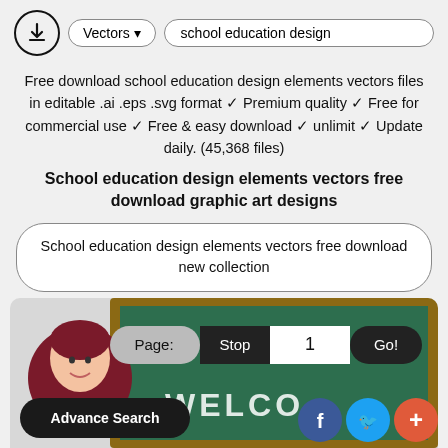Vectors ▼  school education design
Free download school education design elements vectors files in editable .ai .eps .svg format ✓ Premium quality ✓ Free for commercial use ✓ Free & easy download ✓ unlimit ✓ Update daily. (45,368 files)
School education design elements vectors free download graphic art designs
School education design elements vectors free download new collection
Advanced search   Request a design
[Figure (screenshot): Bottom section showing a chalkboard illustration with a cartoon teacher, a pagination bar (Page: Stop 1 Go!), an Advance Search button, and social media icons (Facebook, Twitter, plus).]